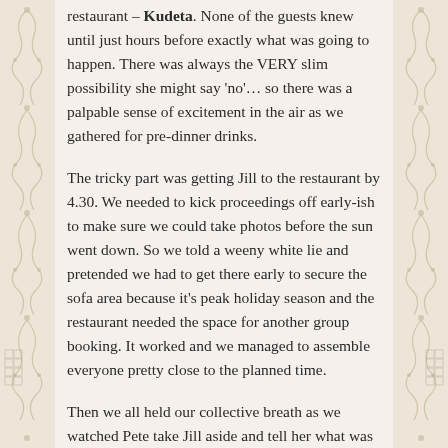Pete booked a dinner at Bali's most glamorous seaside restaurant – Kudeta. None of the guests knew until just hours before exactly what was going to happen. There was always the VERY slim possibility she might say 'no'… so there was a palpable sense of excitement in the air as we gathered for pre-dinner drinks.
The tricky part was getting Jill to the restaurant by 4.30. We needed to kick proceedings off early-ish to make sure we could take photos before the sun went down. So we told a weeny white lie and pretended we had to get there early to secure the sofa area because it's peak holiday season and the restaurant needed the space for another group booking. It worked and we managed to assemble everyone pretty close to the planned time.
Then we all held our collective breath as we watched Pete take Jill aside and tell her what was about to happen. They had their backs to us, so it was hard to work out exactly what was going on… the only give-away, when she wiped a tear from her eye.